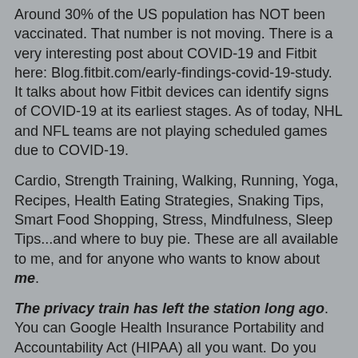Around 30% of the US population has NOT been vaccinated. That number is not moving. There is a very interesting post about COVID-19 and Fitbit here: Blog.fitbit.com/early-findings-covid-19-study. It talks about how Fitbit devices can identify signs of COVID-19 at its earliest stages. As of today, NHL and NFL teams are not playing scheduled games due to COVID-19.
Cardio, Strength Training, Walking, Running, Yoga, Recipes, Health Eating Strategies, Snaking Tips, Smart Food Shopping, Stress, Mindfulness, Sleep Tips...and where to buy pie. These are all available to me, and for anyone who wants to know about me.
The privacy train has left the station long ago. You can Google Health Insurance Portability and Accountability Act (HIPAA) all you want. Do you know who is NOT required to follow HIPAA? Life Insurers, Employers, Worker's Compensation Carriers, most schools and school districts, many state agencies, including child protective agencies, most law enforcement agencies, and many municipal offices.